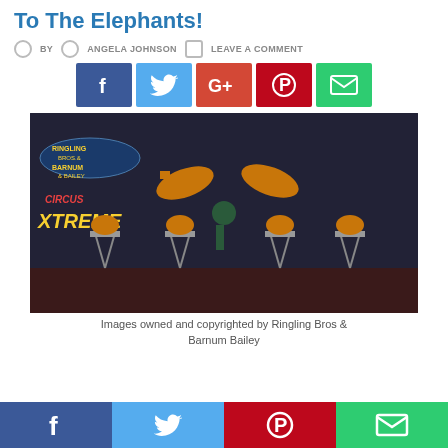To The Elephants!
BY ANGELA JOHNSON  LEAVE A COMMENT
[Figure (infographic): Social share buttons: Facebook (blue), Twitter (light blue), Google+ (orange-red), Pinterest (dark red), Email (green)]
[Figure (photo): Ringling Bros. and Barnum & Bailey Circus Xtreme promotional image showing a performer doing a headstand while tigers leap over them, with multiple tigers on stands in the background]
Images owned and copyrighted by Ringling Bros & Barnum Bailey
[Figure (infographic): Bottom social share bar with Facebook, Twitter, Pinterest, Email buttons]